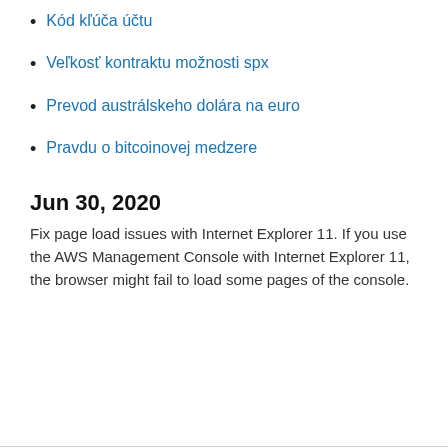Kód kľúča účtu
Veľkosť kontraktu možnosti spx
Prevod austrálskeho dolára na euro
Pravdu o bitcoinovej medzere
Jun 30, 2020
Fix page load issues with Internet Explorer 11. If you use the AWS Management Console with Internet Explorer 11, the browser might fail to load some pages of the console.